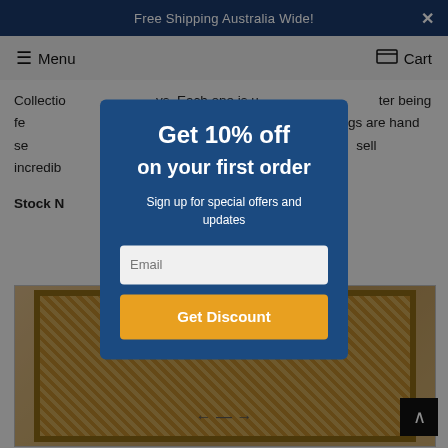Free Shipping Australia Wide!
Menu   Cart
Collection ... vs. Each one is u... ter being fe... lway Runner ... gs are hand se... etail ensuring ... sell incredib... a while, make it ...
Stock N...
[Figure (photo): Hallway runner rug with traditional pattern in beige/gold tones]
Get 10% off on your first order
Sign up for special offers and updates
Email
Get Discount